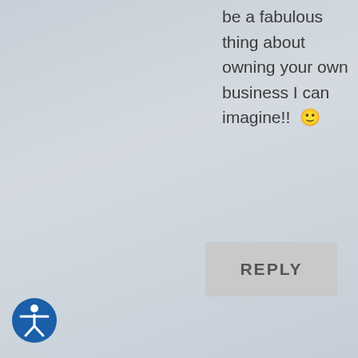be a fabulous thing about owning your own business I can imagine!! 🙂
[Figure (screenshot): REPLY button — grey rounded rectangle]
[Figure (photo): Avatar photo of Carla Gardiner with orange ring border]
Carla Gardiner on September 27, 2013 at 1:01 pm
Daniele I would imagine that one day you'll
[Figure (other): Accessibility icon — blue circle with white person symbol]
[Figure (other): Scroll to top button — grey rectangle with up caret]